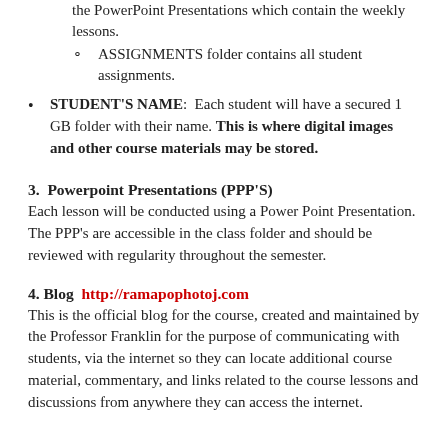the PowerPoint Presentations which contain the weekly lessons.
ASSIGNMENTS folder contains all student assignments.
STUDENT'S NAME: Each student will have a secured 1 GB folder with their name. This is where digital images and other course materials may be stored.
3.  Powerpoint Presentations (PPP'S)
Each lesson will be conducted using a Power Point Presentation. The PPP's are accessible in the class folder and should be reviewed with regularity throughout the semester.
4. Blog  http://ramapophotoj.com
This is the official blog for the course, created and maintained by the Professor Franklin for the purpose of communicating with students, via the internet so they can locate additional course material, commentary, and links related to the course lessons and discussions from anywhere they can access the internet.